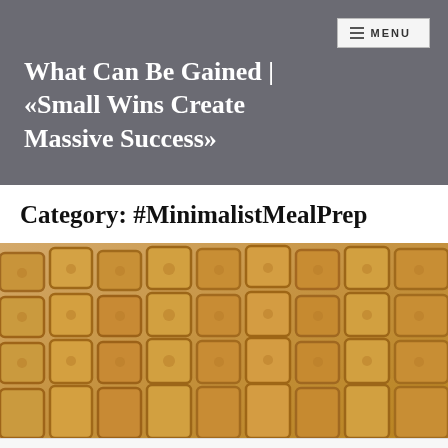≡ MENU
What Can Be Gained | «Small Wins Create Massive Success»
Category: #MinimalistMealPrep
[Figure (photo): Close-up photograph of golden-brown waffles showing the textured grid pattern of waffle squares.]
Follow ...